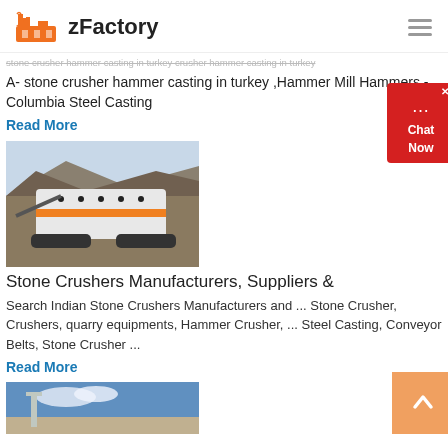zFactory
stone crusher hammer casting in turkey crusher hammer casting in turkey A- stone crusher hammer casting in turkey ,Hammer Mill Hammers - Columbia Steel Casting
Read More
[Figure (photo): Mobile stone crusher machine on tracks at a quarry site]
Stone Crushers Manufacturers, Suppliers &
Search Indian Stone Crushers Manufacturers and ... Stone Crusher, Crushers, quarry equipments, Hammer Crusher, ... Steel Casting, Conveyor Belts, Stone Crusher ...
Read More
[Figure (photo): Stone crusher equipment at quarry with blue sky]